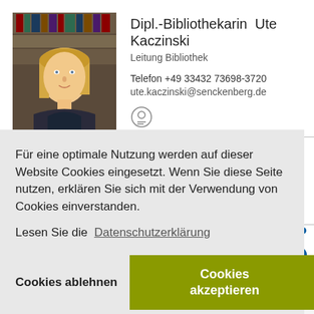[Figure (photo): Portrait photo of a blonde woman in business attire, standing in front of bookshelves]
Dipl.-Bibliothekarin  Ute Kaczinski
Leitung Bibliothek
Telefon +49 33432 73698-3720
ute.kaczinski@senckenberg.de
Für eine optimale Nutzung werden auf dieser Website Cookies eingesetzt. Wenn Sie diese Seite nutzen, erklären Sie sich mit der Verwendung von Cookies einverstanden.
Lesen Sie die  Datenschutzerklärung
Cookies ablehnen
Cookies akzeptieren
Fax +49 33432 73698-3700